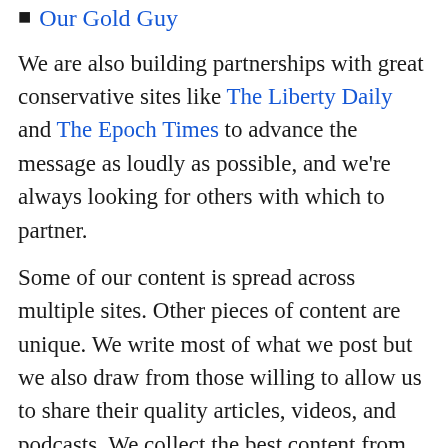Our Gold Guy
We are also building partnerships with great conservative sites like The Liberty Daily and The Epoch Times to advance the message as loudly as possible, and we're always looking for others with which to partner.
Some of our content is spread across multiple sites. Other pieces of content are unique. We write most of what we post but we also draw from those willing to allow us to share their quality articles, videos, and podcasts. We collect the best content from fellow conservative sites that give us permission to republish them. We're not ego-driven; I'd much rather post a properly attributed story written by experts like Dr. Joseph Mercola or Natural